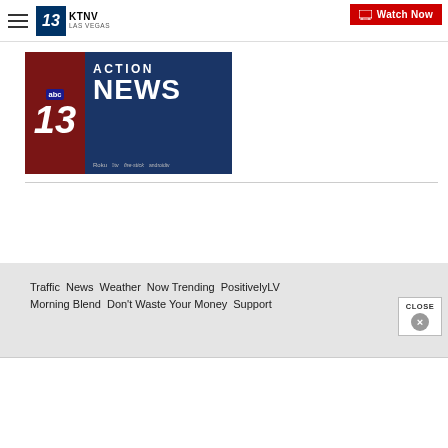KTNV 13 Las Vegas | Watch Now
[Figure (logo): KTNV 13 Action News banner with ABC logo, red and dark blue background, platform icons: Roku, Apple TV, Fire TV, Android TV]
Traffic | News | Weather | Now Trending | PositivelyLV | Morning Blend | Don't Waste Your Money | Support
CLOSE ×